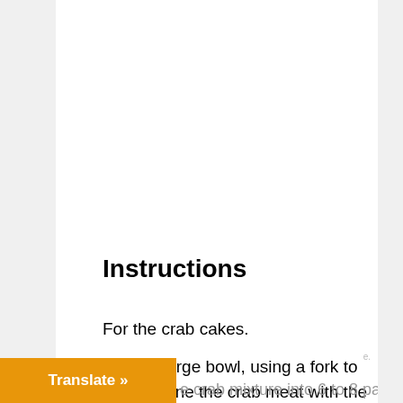Instructions
For the crab cakes.
In a large bowl, using a fork to combine the crab meat with the next 8 ingredients. Gently fold the mixture together until well combined. Being careful not to shred the
e crab mixture into 6 to 8 patties
[Figure (other): Orange Translate button bar at bottom left of page]